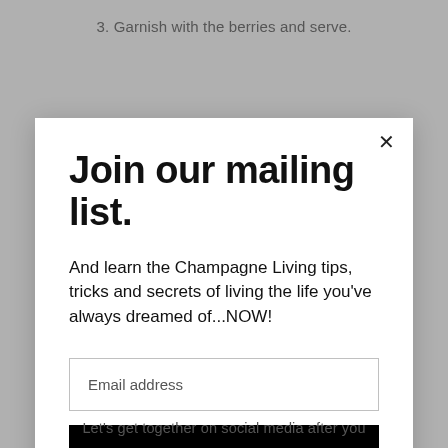3. Garnish with the berries and serve.
Join our mailing list.
And learn the Champagne Living tips, tricks and secrets of living the life you've always dreamed of...NOW!
Email address
Subscribe
Let's get together on social media after you